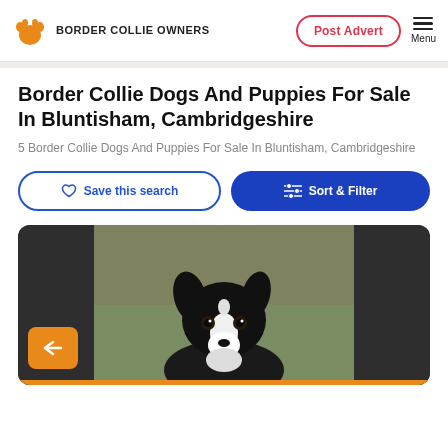BORDER COLLIE OWNERS
Border Collie Dogs And Puppies For Sale In Bluntisham, Cambridgeshire
5 Border Collie Dogs And Puppies For Sale In Bluntisham, Cambridgeshire
[Figure (screenshot): Save this search button and Sort & Filter button]
[Figure (photo): Border Collie dog photo with dark side panels and orange navigation button]